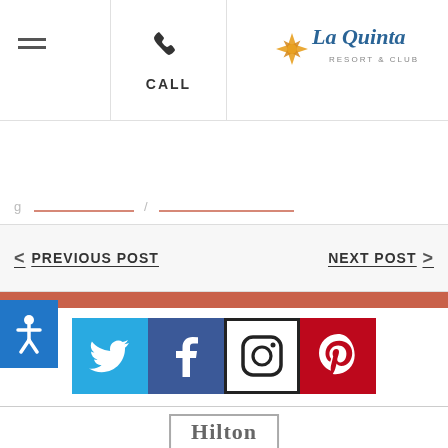[Figure (screenshot): La Quinta Resort & Club website header with hamburger menu, phone call button, and logo]
MAKE A RESERVATION ▼
< PREVIOUS POST   NEXT POST >
[Figure (illustration): Accessibility icon button (blue background with human figure)]
[Figure (logo): Social media icons: Twitter (blue bird), Facebook (blue f), Instagram (camera outline), Pinterest (red P)]
[Figure (logo): Hilton logo in gray bordered rectangle]